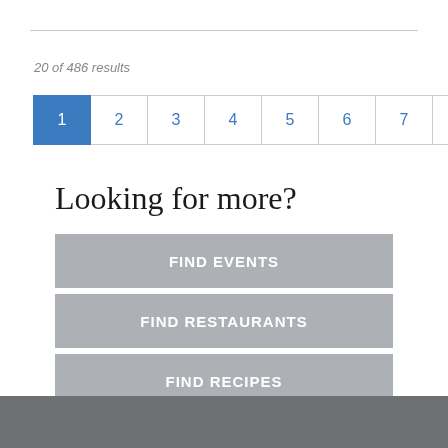20 of 486 results
1 2 3 4 5 6 7 8 9 10 »
Looking for more?
FIND EVENTS
FIND RESTAURANTS
FIND RECIPES
FIND ARTICLES